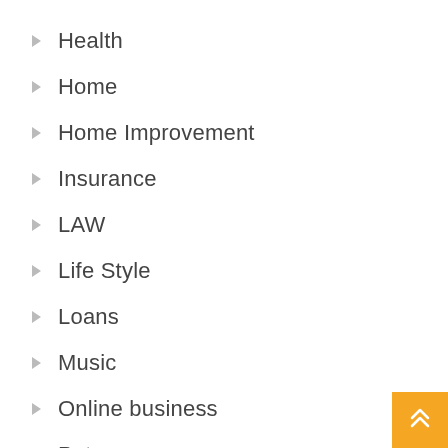Health
Home
Home Improvement
Insurance
LAW
Life Style
Loans
Music
Online business
Pet
Pets care
Photography